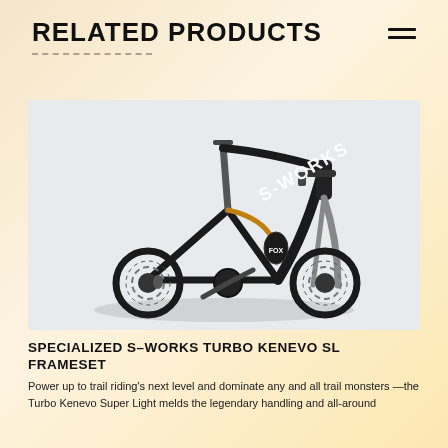RELATED PRODUCTS
[Figure (photo): Specialized S-Works mountain bike frameset in black carbon, showing full suspension frame with S-Works branding on a light grey background]
SPECIALIZED S-WORKS TURBO KENEVO SL FRAMESET
Power up to trail riding's next level and dominate any and all trail monsters —the Turbo Kenevo Super Light melds the legendary handling and all-around